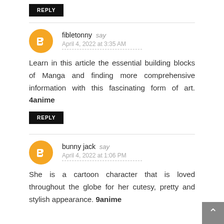REPLY
fibletonny say
April 4, 2022 at 3:35 AM
Learn in this article the essential building blocks of Manga and finding more comprehensive information with this fascinating form of art. 4anime
REPLY
bunny jack say
April 4, 2022 at 1:06 PM
She is a cartoon character that is loved throughout the globe for her cutesy, pretty and stylish appearance. 9anime